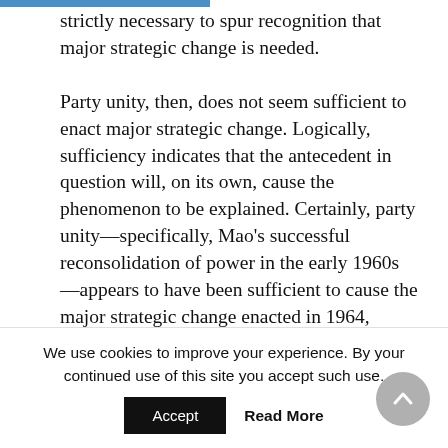strictly necessary to spur recognition that major strategic change is needed.

Party unity, then, does not seem sufficient to enact major strategic change. Logically, sufficiency indicates that the antecedent in question will, on its own, cause the phenomenon to be explained. Certainly, party unity—specifically, Mao's successful reconsolidation of power in the early 1960s—appears to have been sufficient to cause the major strategic change enacted in 1964, which, contrary to Fravel's theory, occurred in the absence of a significant shift in the way in which conventional warfare
We use cookies to improve your experience. By your continued use of this site you accept such use.
Accept   Read More